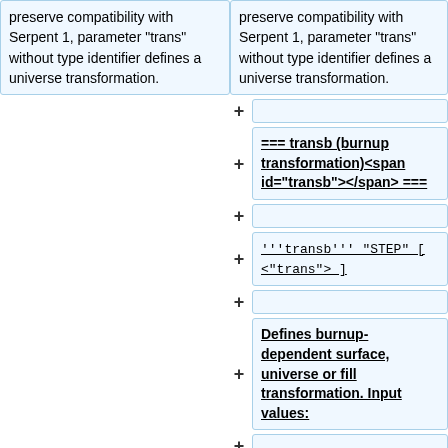preserve compatibility with Serpent 1, parameter "trans" without type identifier defines a universe transformation.
preserve compatibility with Serpent 1, parameter "trans" without type identifier defines a universe transformation.
(empty box)
=== transb (burnup transformation)<span id="transb"></span> ===
(empty box)
'''transb''' "STEP" [ <"trans"> ]
(empty box)
Defines burnup-dependent surface, universe or fill transformation. Input values:
(empty box)